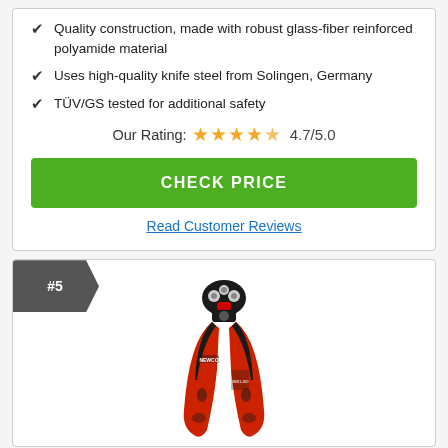Quality construction, made with robust glass-fiber reinforced polyamide material
Uses high-quality knife steel from Solingen, Germany
TÜV/GS tested for additional safety
Our Rating: 4.7/5.0
CHECK PRICE
Read Customer Reviews
#5
[Figure (photo): Red and black wire stripper / crimping tool (NEWCO brand) shown vertically]